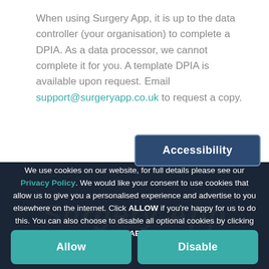When using Surgery App, it is up to the data controller (your organisation) to complete a DPIA. As a data processor, we cannot complete it for you. A template DPIA is available upon request. Email support@surgeryapp.co.uk to request a copy.
Accessibility
We use cookies on our website, for full details please see our Privacy Policy. We would like your consent to use cookies that allow us to give you a personalised experience and advertise to you elsewhere on the internet. Click ALLOW if you're happy for us to do this. You can also choose to disable all optional cookies by clicking DISABLE.
Allow
Disable